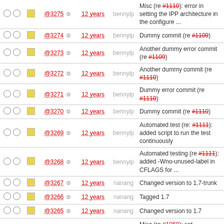|  |  | Rev | Age | Author | Log Message |
| --- | --- | --- | --- | --- | --- |
| ○○ | □ | @3275 ⚙ | 12 years | bennylp | Misc (re #1110): error in setting the IPP architecture in the configure ... |
| ○○ | □ | @3274 ⚙ | 12 years | bennylp | Dummy commit (re #1109) |
| ○○ | □ | @3273 ⚙ | 12 years | bennylp | Another dummy error commit (re #1109) |
| ○○ | □ | @3272 ⚙ | 12 years | bennylp | Another dummy commit (re #1110) |
| ○○ | □ | @3271 ⚙ | 12 years | bennylp | Dummy error commit (re #1110) |
| ○○ | □ | @3270 ⚙ | 12 years | bennylp | Dummy commit (re #1110) |
| ○○ | □ | @3269 ⚙ | 12 years | bennylp | Automated test (re: #1111): added script to run the test continuously |
| ○○ | □ | @3268 ⚙ | 12 years | bennylp | Automated testing (re #1111): added -Wno-unused-label in CFLAGS for ... |
| ○○ | □ | @3267 ⚙ | 12 years | nanang | Changed version to 1.7-trunk |
| ○○ | □ | @3266 ⚙ | 12 years | nanang | Tagged 1.7 |
| ○○ | □ | @3265 ⚙ | 12 years | nanang | Changed version to 1.7 |
| ○○ | □ | @3264 ⚙ | 12 years | nanang | Misc (re #1068): set sip_transport_tls_ossl.c to be excluded from build on ... |
| ○○ | □ | @3263 ⚙ | 12 years | nanang | Re #1106: Reverted back the IPP codec APIs ... |
| ○○ | □ | @3262 ⚙ | 12 years | bennylp | Misc (re #1068): fixed various compilation warnings with Visual Studio 6 ... |
| ○○ | □ | @3261 ⚙ | 12 years | nanang | Fix #1106: - Added PCM signal adjustment in IPP G722.1 implementation. ... |